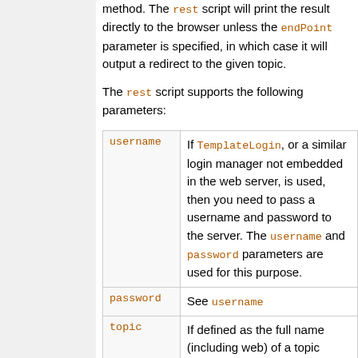method. The rest script will print the result directly to the browser unless the endPoint parameter is specified, in which case it will output a redirect to the given topic.
The rest script supports the following parameters:
| Parameter | Description |
| --- | --- |
| username | If TemplateLogin, or a similar login manager not embedded in the web server, is used, then you need to pass a username and password to the server. The username and password parameters are used for this purpose. |
| password | See username |
| topic | If defined as the full name (including web) of a topic |